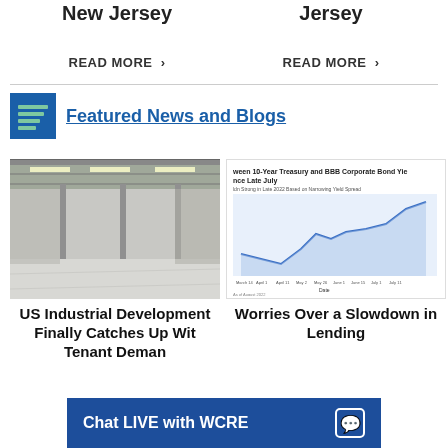New Jersey
READ MORE ›
Jersey
READ MORE ›
Featured News and Blogs
[Figure (photo): Interior of a large industrial warehouse with high ceilings, steel columns, and polished concrete floor.]
[Figure (line-chart): Chart showing spread between 10-Year Treasury and BBB Corporate Bond Yields since Late July. Subtitle: Ldn Strong in Late 2022 Based on Narrowing Yield Spread. X-axis shows dates from March 14 to July 11.]
US Industrial Development Finally Catches Up With Tenant Deman
Worries Over a Slowdown in Lending
Chat LIVE with WCRE